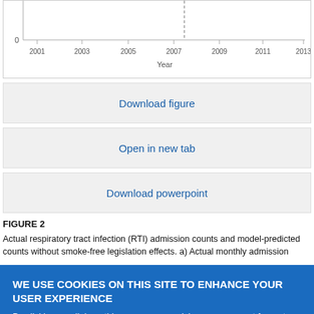[Figure (continuous-plot): Bottom fragment of a line chart showing year on x-axis (2001–2013) with a dashed vertical line near 2007–2008 and a '0' marker on the y-axis.]
Download figure
Open in new tab
Download powerpoint
FIGURE 2
Actual respiratory tract infection (RTI) admission counts and model-predicted counts without smoke-free legislation effects. a) Actual monthly admission
WE USE COOKIES ON THIS SITE TO ENHANCE YOUR USER EXPERIENCE
By clicking any link on this page you are giving your consent for us to set cookies.